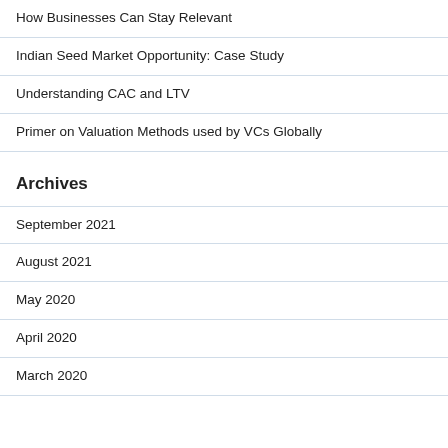How Businesses Can Stay Relevant
Indian Seed Market Opportunity: Case Study
Understanding CAC and LTV
Primer on Valuation Methods used by VCs Globally
Archives
September 2021
August 2021
May 2020
April 2020
March 2020